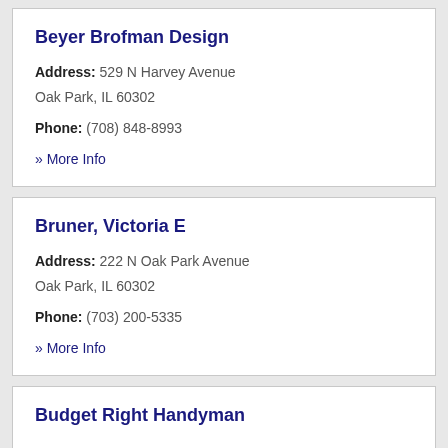Beyer Brofman Design
Address: 529 N Harvey Avenue Oak Park, IL 60302
Phone: (708) 848-8993
» More Info
Bruner, Victoria E
Address: 222 N Oak Park Avenue Oak Park, IL 60302
Phone: (703) 200-5335
» More Info
Budget Right Handyman